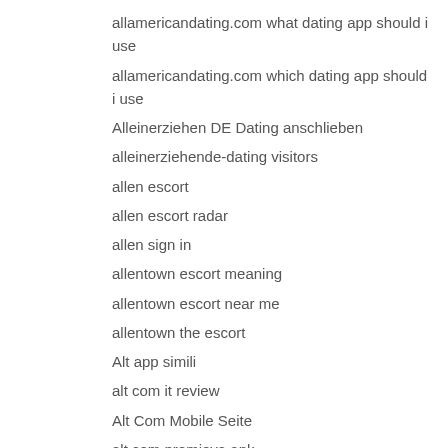allamericandating.com what dating app should i use
allamericandating.com which dating app should i use
Alleinerziehen DE Dating anschlieben
alleinerziehende-dating visitors
allen escort
allen escort radar
allen sign in
allentown escort meaning
allentown escort near me
allentown the escort
Alt app simili
alt com it review
Alt Com Mobile Seite
alt com premiova apk
alt com review
Alt commenti
alt fotografie